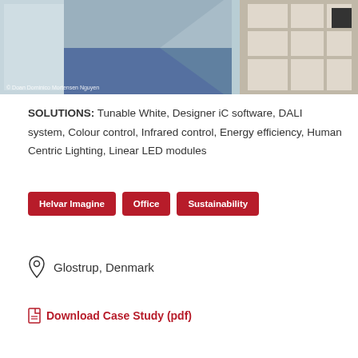[Figure (photo): Interior photo of a corridor/office with blue carpet and white shelving unit, with photo credit: © Doan Dominico Mortensen Nguyen]
SOLUTIONS: Tunable White, Designer iC software, DALI system, Colour control, Infrared control, Energy efficiency, Human Centric Lighting, Linear LED modules
Helvar Imagine
Office
Sustainability
Glostrup, Denmark
Download Case Study (pdf)